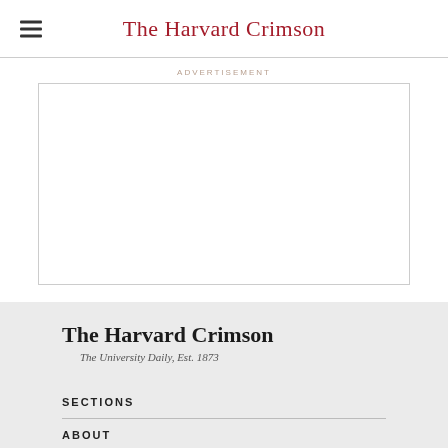The Harvard Crimson
ADVERTISEMENT
[Figure (other): Empty advertisement box placeholder with thin border]
The Harvard Crimson
The University Daily, Est. 1873
SECTIONS
ABOUT
RESOURCES